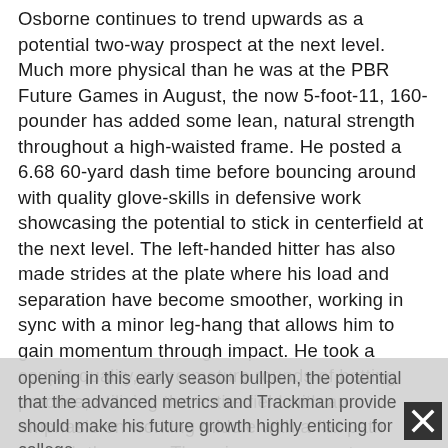Osborne continues to trend upwards as a potential two-way prospect at the next level. Much more physical than he was at the PBR Future Games in August, the now 5-foot-11, 160-pounder has added some lean, natural strength throughout a high-waisted frame. He posted a 6.68 60-yard dash time before bouncing around with quality glove-skills in defensive work showcasing the potential to stick in centerfield at the next level. The left-handed hitter has also made strides at the plate where his load and separation have become smoother, working in sync with a minor leg-hang that allows him to gain momentum through impact. He took a couple quality, more mature rounds of batting practice, utilizing the entire field with an emphasis on working middle with a flat path through the zone. There is more power to come, and given the all-around athleticism that he possesses, expect it to show up sooner rather than later. Osborne's upside on the mound also continues to be highly intriguing. He has upwards of 28 BU's on the fastball, and while the velocity was not eye-opening in this early season bullpen, the potential that the advanced metrics and Trackman provide should make his future growth highly enticing for college
opening in this early season bullpen, the potential that the advanced metrics and Trackman provide should make his future growth highly enticing for college